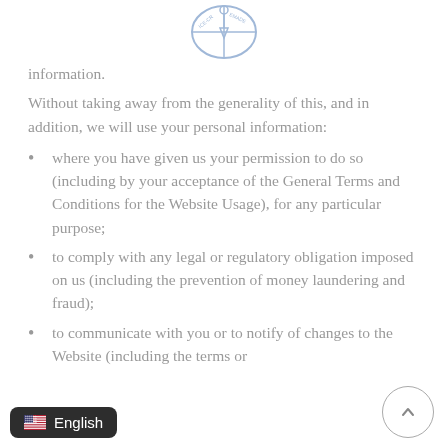[Figure (logo): Circular logo with ice cream / lemonade branding at top center]
information.
Without taking away from the generality of this, and in addition, we will use your personal information:
where you have given us your permission to do so (including by your acceptance of the General Terms and Conditions for the Website Usage), for any particular purpose;
to comply with any legal or regulatory obligation imposed on us (including the prevention of money laundering and fraud);
to communicate with you or to notify of changes to the Website (including the terms or